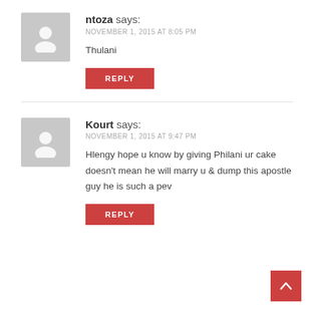[Figure (illustration): Gray avatar placeholder silhouette for user ntoza]
ntoza says: NOVEMBER 1, 2015 AT 8:05 PM
Thulani
REPLY
[Figure (illustration): Gray avatar placeholder silhouette for user Kourt]
Kourt says: NOVEMBER 1, 2015 AT 9:47 PM
Hlengy hope u know by giving Philani ur cake doesn't mean he will marry u & dump this apostle guy he is such a pev
REPLY